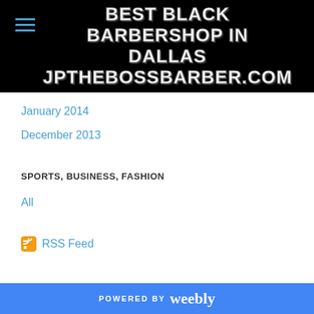BEST BLACK BARBERSHOP IN DALLAS JPTHEBOSSBARBER.COM
January 2014
December 2013
SPORTS, BUSINESS, FASHION
All
RSS Feed
POWERED BY weebly